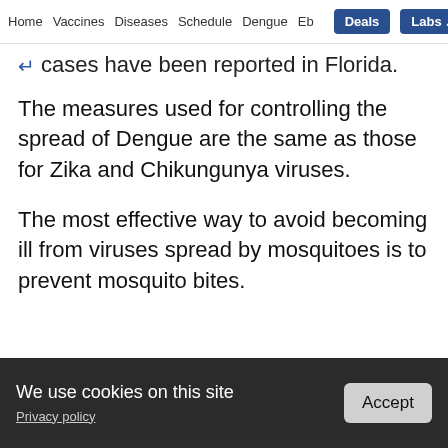Home  Vaccines  Diseases  Schedule  Dengue  Eb  Deals  Labs
cases have been reported in Florida.
The measures used for controlling the spread of Dengue are the same as those for Zika and Chikungunya viruses.
The most effective way to avoid becoming ill from viruses spread by mosquitoes is to prevent mosquito bites.
ADVERTISEMENT
We use cookies on this site
Privacy policy